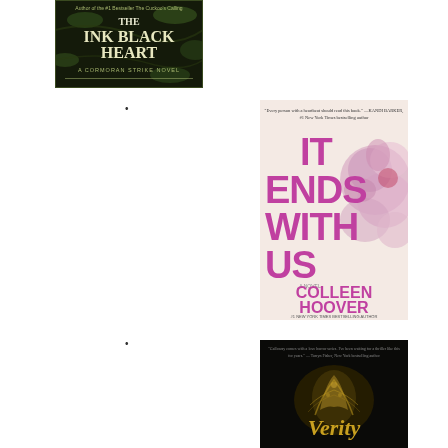[Figure (illustration): Book cover of 'The Ink Black Heart: A Cormoran Strike Novel' by Robert Galbraith. Dark background with green vine/leaf designs and gold/white title text.]
•
[Figure (illustration): Book cover of 'It Ends With Us' by Colleen Hoover. Pink and cream background with large magenta/pink title text and pink floral (peonies) imagery. '#1 New York Times Bestselling Author' at bottom.]
•
[Figure (illustration): Book cover of 'Verity' by Colleen Hoover. Dark/black background with golden glowing bird/figure illustration and gold script title 'Verity'.]